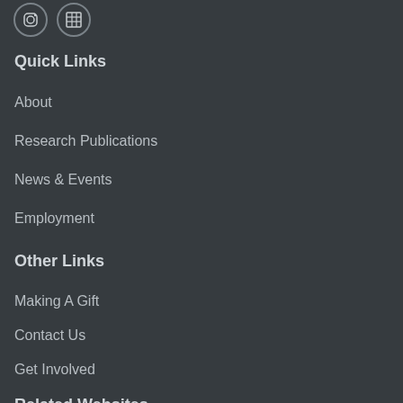[Figure (illustration): Two social media icon circles (Instagram and a grid/table icon) at the top left]
Quick Links
About
Research Publications
News & Events
Employment
Other Links
Making A Gift
Contact Us
Get Involved
Related Websites